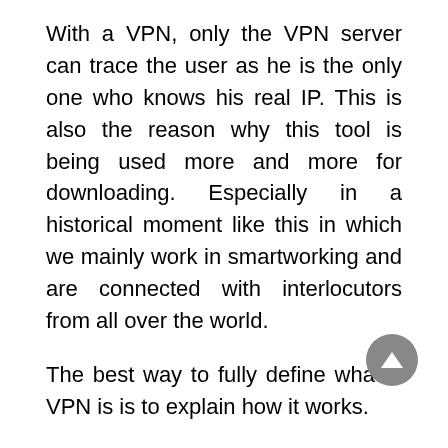With a VPN, only the VPN server can trace the user as he is the only one who knows his real IP. This is also the reason why this tool is being used more and more for downloading. Especially in a historical moment like this in which we mainly work in smartworking and are connected with interlocutors from all over the world.
The best way to fully define what a VPN is is to explain how it works.
How a VPN works
Every VPN service provider has a network of servers around the world, and when you hook up to a VPN, everything you do on the internet is